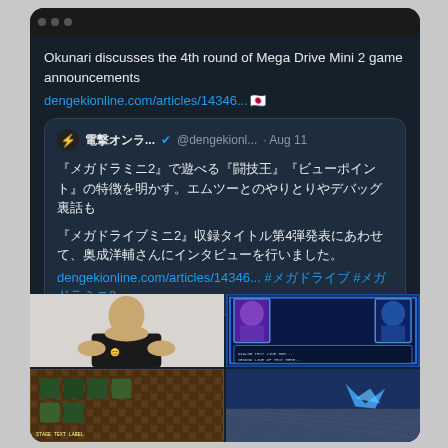[Figure (screenshot): Screenshot of a Twitter/social media post. The main tweet says 'Okunari discusses the 4th round of Mega Drive Mini 2 game announcements' with link dengekionline.com/articles/14346... and Japanese flag emoji. A quoted tweet from @dengekionl (電撃オンラ...) dated Aug 11 contains Japanese text about Mega Drive Mini 2 games and a link. Below is 'Show this thread' and four game/interview image thumbnails in a 2x2 grid.]